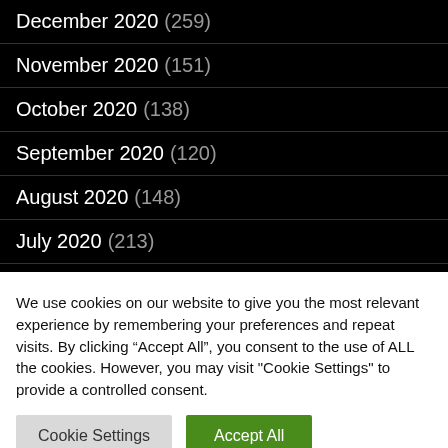December 2020 (259)
November 2020 (151)
October 2020 (138)
September 2020 (120)
August 2020 (148)
July 2020 (213)
June 2020 (256)
May 2020 (445)
We use cookies on our website to give you the most relevant experience by remembering your preferences and repeat visits. By clicking “Accept All”, you consent to the use of ALL the cookies. However, you may visit "Cookie Settings" to provide a controlled consent.